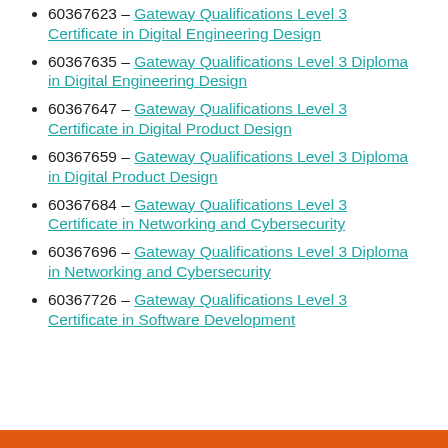60367623 – Gateway Qualifications Level 3 Certificate in Digital Engineering Design
60367635 – Gateway Qualifications Level 3 Diploma in Digital Engineering Design
60367647 – Gateway Qualifications Level 3 Certificate in Digital Product Design
60367659 – Gateway Qualifications Level 3 Diploma in Digital Product Design
60367684 – Gateway Qualifications Level 3 Certificate in Networking and Cybersecurity
60367696 – Gateway Qualifications Level 3 Diploma in Networking and Cybersecurity
60367726 – Gateway Qualifications Level 3 Certificate in Software Development